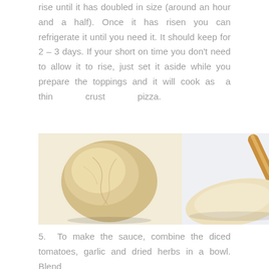rise until it has doubled in size (around an hour and a half). Once it has risen you can refrigerate it until you need it. It should keep for 2 – 3 days. If your short on time you don't need to allow it to rise, just set it aside while you prepare the toppings and it will cook as a thin crust pizza.
[Figure (photo): Two food photos side by side: left shows a ball of risen pizza dough, right shows a rolling pin with flattened pizza dough.]
5. To make the sauce, combine the diced tomatoes, garlic and dried herbs in a bowl. Blend